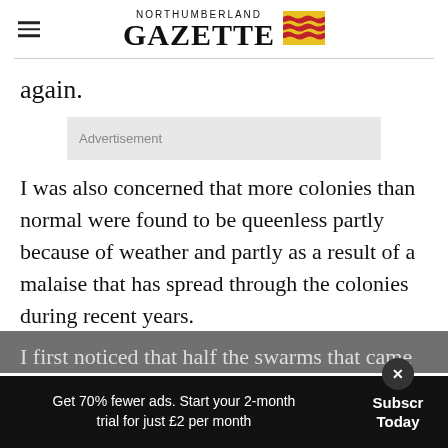NORTHUMBERLAND GAZETTE
again.
Advertisement
I was also concerned that more colonies than normal were found to be queenless partly because of weather and partly as a result of a malaise that has spread through the colonies during recent years.
I first noticed that half the swarms that came
Get 70% fewer ads. Start your 2-month trial for just £2 per month  Subscribe Today